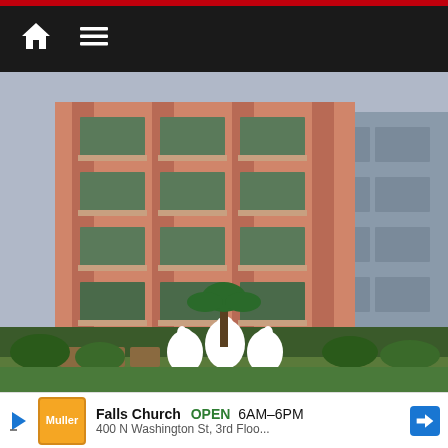Navigation bar with home and menu icons
[Figure (photo): Photo of a hotel building exterior. The main building has salmon/terracotta-colored facade with multiple floors of balconies featuring ornate iron railings. A gray building is visible to the right. In the foreground is a garden area with three large white swan sculptures, tropical plants, and outdoor seating furniture.]
Falls Church  OPEN  6AM–6PM
400 N Washington St, 3rd Floo...